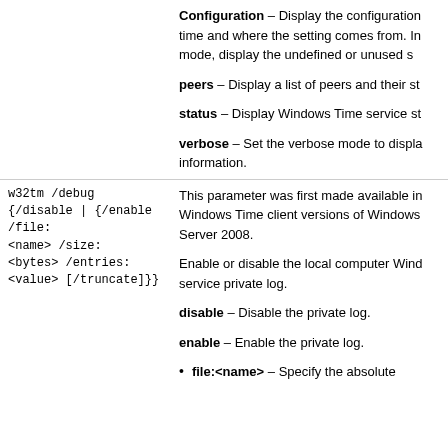| Command | Description |
| --- | --- |
|  | Configuration – Display the configuration time and where the setting comes from. In mode, display the undefined or unused s...

peers – Display a list of peers and their st...

status – Display Windows Time service st...

verbose – Set the verbose mode to display information. |
| w32tm /debug {/disable | {/enable /file: <name> /size: <bytes> /entries: <value> [/truncate]}} | This parameter was first made available in Windows Time client versions of Windows Server 2008.

Enable or disable the local computer Windows Time service private log.

disable – Disable the private log.

enable – Enable the private log.

file:<name> – Specify the absolute... |